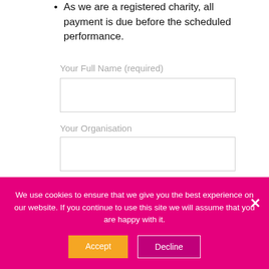As we are a registered charity, all payment is due before the scheduled performance.
Your Full Name (required)
Your Organisation
Contact Telephone Number (required)
We use cookies to ensure that we give you the best experience on our website. If you continue to use this site we will assume that you are happy with it.